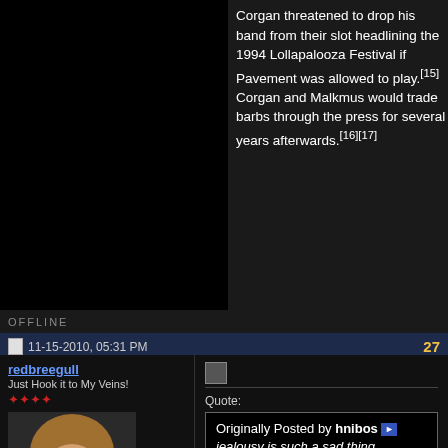Corgan threatened to drop his band from their slot headlining the 1994 Lollapalooza Festival if Pavement was allowed to play.[15] Corgan and Malkmus would trade barbs through the press for several years afterwards.[16][17]
OFFLINE
11-15-2010, 05:31 PM
27
redbreegull
Just Hook it to My Veins!
Location: WILD BOY
Posts: 32,108
Quote:
Originally Posted by hnibos
jealousy is such a sad thing
that would actually be envy, not jealousy.
OFFLINE
11-15-2010, 06:06 PM
28
Eulogy